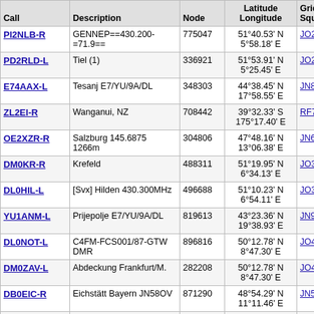| Call | Description | Node | Latitude
Longitude | Grid
Square | Dist
(mi) |
| --- | --- | --- | --- | --- | --- |
| PI2NLB-R | GENNEP==430.200-=71.9== | 775047 | 51°40.53' N
5°58.18' E | JO21xq | 573 |
| PD2RLD-L | Tiel (1) | 336921 | 51°53.91' N
5°25.45' E | JO21rv | 573 |
| E74AAX-L | Tesanj E7/YU/9A/DL | 348303 | 44°38.45' N
17°58.55' E | JN84xp | 573 |
| ZL2EI-R | Wanganui, NZ | 708442 | 39°32.33' S
175°17.40' E | RF70pl | 573 |
| OE2XZR-R | Salzburg 145.6875
1266m | 304806 | 47°48.16' N
13°06.38' E | JN67nt | 573 |
| DM0KR-R | Krefeld | 488311 | 51°19.95' N
6°34.13' E | JO31gh | 573 |
| DL0HIL-L | [Svx] Hilden 430.300MHz | 496688 | 51°10.23' N
6°54.11' E | JO31ke | 573 |
| YU1ANM-L | Prijepolje E7/YU/9A/DL | 819613 | 43°23.36' N
19°38.93' E | JN93tj | 573 |
| DL0NOT-L | C4FM-FCS001/87-GTW
DMR | 896816 | 50°12.78' N
8°47.30' E | JO40jf | 573 |
| DM0ZAV-L | Abdeckung Frankfurt/M. | 282208 | 50°12.78' N
8°47.30' E | JO40jf | 573 |
| DB0EIC-R | Eichstätt Bayern JN58OV | 871290 | 48°54.29' N
11°11.46' E | JN58ov | 573 |
| GB3ZN-R | Newcastle upon Tyne | 266961 | 54°35.59' N | JO94ic | 573 |